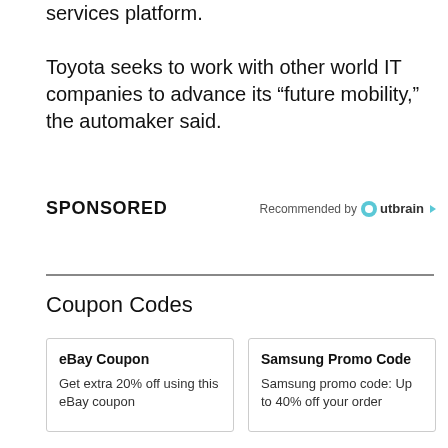services platform.

Toyota seeks to work with other world IT companies to advance its “future mobility,” the automaker said.
SPONSORED
Recommended by Outbrain
Coupon Codes
eBay Coupon
Get extra 20% off using this eBay coupon
Samsung Promo Code
Samsung promo code: Up to 40% off your order